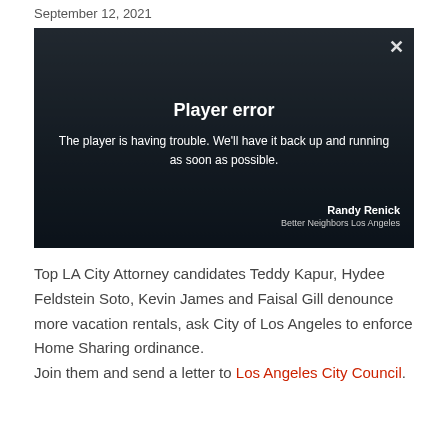September 12, 2021
[Figure (photo): Video player showing a protest scene with people holding signs, overlaid with a 'Player error' message. Visible text on screen: 'Player error', 'The player is having trouble. We'll have it back up and running as soon as possible.', 'Randy Renick', 'Better Neighbors Los Angeles']
Top LA City Attorney candidates Teddy Kapur, Hydee Feldstein Soto, Kevin James and Faisal Gill denounce more vacation rentals, ask City of Los Angeles to enforce Home Sharing ordinance.
Join them and send a letter to Los Angeles City Council.